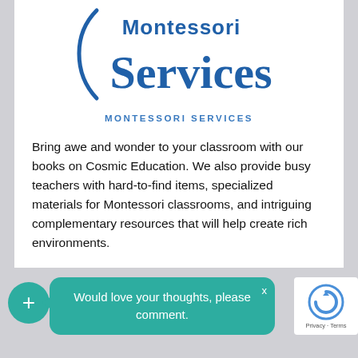[Figure (logo): Montessori Services logo — stylized text with a curved bracket on the left, blue serif font reading 'Services']
MONTESSORI SERVICES
Bring awe and wonder to your classroom with our books on Cosmic Education. We also provide busy teachers with hard-to-find items, specialized materials for Montessori classrooms, and intriguing complementary resources that will help create rich environments.
VISIT OUR COSMIC ED PAGE
Would love your thoughts, please comment.